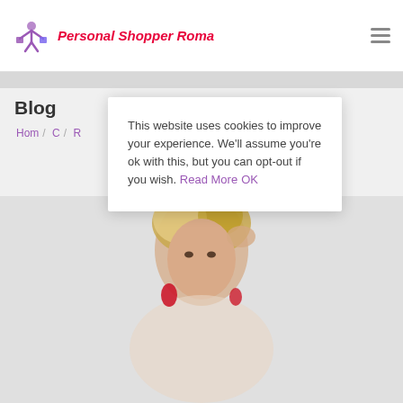Personal Shopper Roma
Blog
Home / C... / R...
This website uses cookies to improve your experience. We'll assume you're ok with this, but you can opt-out if you wish. Read More OK
[Figure (photo): Blonde woman with red earrings posing with hand near head, light gray background]